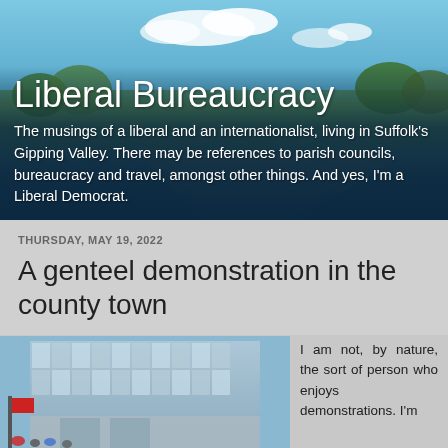[Figure (photo): A scenic road/landscape photo used as a blog header background, showing a blue sky with clouds, green trees, and a road, with a dark blue overlay at the bottom.]
Liberal Bureaucracy
The musings of a liberal and an internationalist, living in Suffolk's Gipping Valley. There may be references to parish councils, bureaucracy and travel, amongst other things. And yes, I'm a Liberal Democrat.
THURSDAY, MAY 19, 2022
A genteel demonstration in the county town
[Figure (photo): A photo showing a modern glass-fronted building with flags and people outside, appearing to be a demonstration or gathering.]
I am not, by nature, the sort of person who enjoys demonstrations. I'm